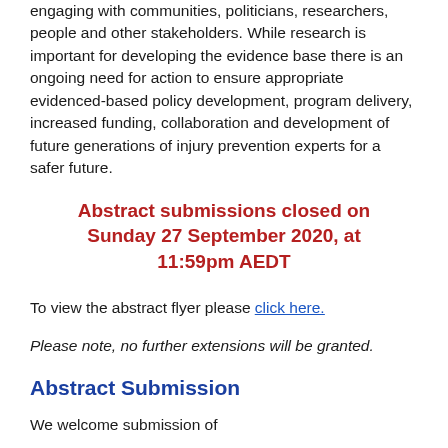engaging with communities, politicians, researchers, people and other stakeholders. While research is important for developing the evidence base there is an ongoing need for action to ensure appropriate evidenced-based policy development, program delivery, increased funding, collaboration and development of future generations of injury prevention experts for a safer future.
Abstract submissions closed on Sunday 27 September 2020, at 11:59pm AEDT
To view the abstract flyer please click here.
Please note, no further extensions will be granted.
Abstract Submission
We welcome submission of